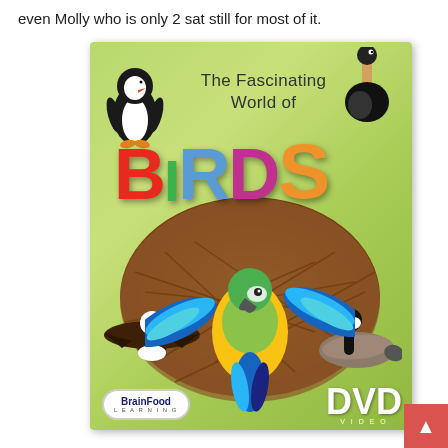even Molly who is only 2 sat still for most of it.
[Figure (photo): DVD cover for 'The Fascinating World of Birds' by BrainFood Learning. Green background with colorful BIRDS lettering, a large bird nest, a penguin, an ostrich, a macaw parrot with wings spread, an eagle, and a Canada goose. BrainFood Learning logo bottom left, DVD Video logo bottom right.]